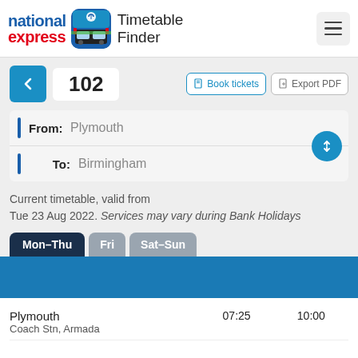[Figure (logo): National Express Timetable Finder app logo and header with hamburger menu]
102
Book tickets
Export PDF
From: Plymouth
To: Birmingham
Current timetable, valid from Tue 23 Aug 2022. Services may vary during Bank Holidays
Mon–Thu
Fri
Sat–Sun
| Stop | Dep 1 | Dep 2 |
| --- | --- | --- |
| Plymouth
Coach Stn, Armada | 07:25 | 10:00 |